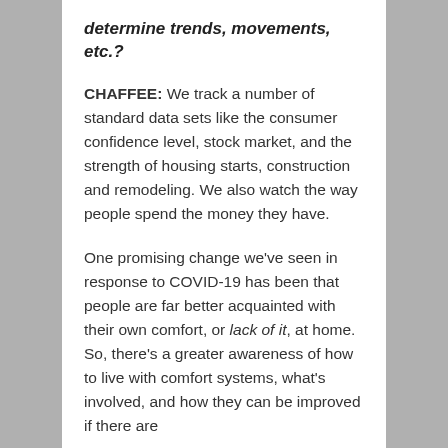determine trends, movements, etc.?
CHAFFEE: We track a number of standard data sets like the consumer confidence level, stock market, and the strength of housing starts, construction and remodeling. We also watch the way people spend the money they have.
One promising change we've seen in response to COVID-19 has been that people are far better acquainted with their own comfort, or lack of it, at home. So, there's a greater awareness of how to live with comfort systems, what's involved, and how they can be improved if there are